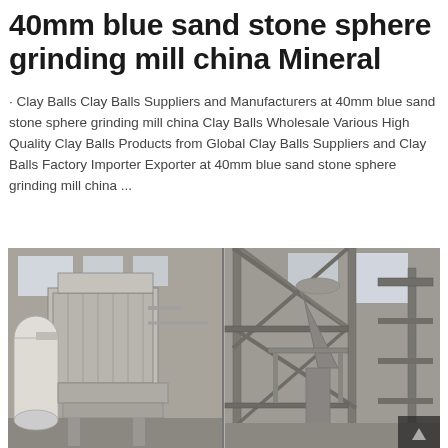40mm blue sand stone sphere grinding mill china Mineral
· Clay Balls Clay Balls Suppliers and Manufacturers at 40mm blue sand stone sphere grinding mill china Clay Balls Wholesale Various High Quality Clay Balls Products from Global Clay Balls Suppliers and Clay Balls Factory Importer Exporter at 40mm blue sand stone sphere grinding mill china ...
[Figure (photo): Two side-by-side industrial photos showing large grinding mill machinery inside a factory building. Left image shows a multi-level industrial milling machine with white cylindrical ducts, ventilation pipes, and metal enclosures. Right image shows steel structural framework, scaffolding, and a large conical/funnel-shaped industrial component inside a factory with high windows.]